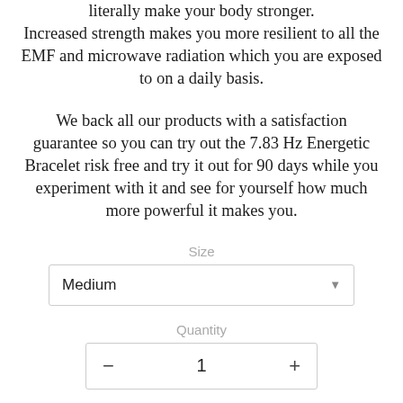literally make your body stronger. Increased strength makes you more resilient to all the EMF and microwave radiation which you are exposed to on a daily basis.
We back all our products with a satisfaction guarantee so you can try out the 7.83 Hz Energetic Bracelet risk free and try it out for 90 days while you experiment with it and see for yourself how much more powerful it makes you.
Size
Medium
Quantity
1
$ 75.00